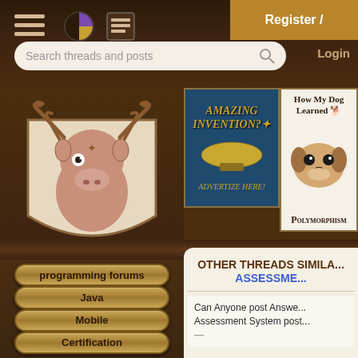Register / Login
Search threads and posts
[Figure (screenshot): Moose mascot illustration - cartoon drawing of a moose head on a shield/crest]
[Figure (illustration): Vintage advertisement: AMAZING INVENTION? ADVERTIZE HERE! with steampunk airship imagery]
[Figure (illustration): Book advertisement: How My Dog Learned Polymorphism - showing a dog photo]
programming forums
Java
Mobile
Certification
OTHER THREADS SIMILAR... ASSESSME...
Can Anyone post Answers Assessment System post...